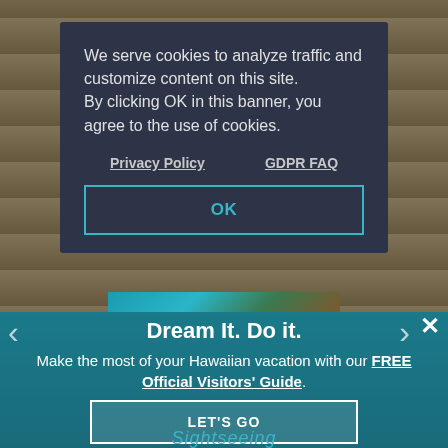[Figure (screenshot): Wooden plank background texture behind cookie consent modal]
We serve cookies to analyze traffic and customize content on this site. By clicking OK in this banner, you agree to the use of cookies.
Privacy Policy    GDPR FAQ
OK
[Figure (photo): Aerial view of Hawaiian coastline with teal ocean and red-brown cliffs]
Dream It. Do it.
Make the most of your Hawaiian vacation with our FREE Official Visitors' Guide.
LET'S GO
Sightseeing